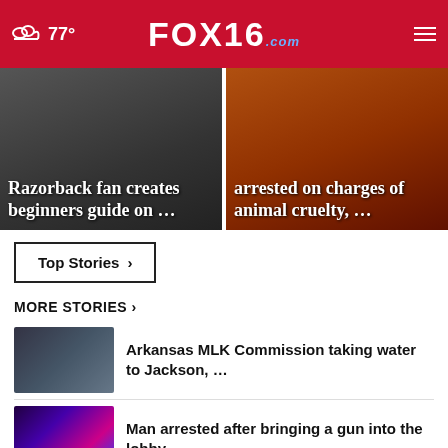77° FOX16.com
[Figure (screenshot): Hero card left: crowd of Razorback fans with overlay text 'Razorback fan creates beginners guide on ...']
[Figure (screenshot): Hero card right: person with red background, overlay text 'arrested on charges of animal cruelty, ...']
Top Stories ›
MORE STORIES ›
[Figure (photo): Thumbnail: Arkansas MLK Commission members with water supplies]
Arkansas MLK Commission taking water to Jackson, …
[Figure (photo): Thumbnail: Police lights blue and red]
Man arrested after bringing a gun into the lobby …
[Figure (photo): Thumbnail: partial, cut off at bottom of page]
Man the Mitchell's Pine Bluff childhood ...